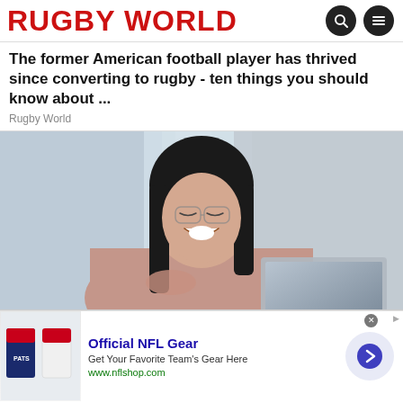RUGBY WORLD
The former American football player has thrived since converting to rugby - ten things you should know about ...
Rugby World
[Figure (photo): Woman with glasses smiling and laughing while looking at a laptop, wearing a pink/mauve top, seated at a desk, blurred indoor background]
[Figure (infographic): Advertisement banner: Official NFL Gear - Get Your Favorite Team's Gear Here - www.nflshop.com, with NFL jersey image and arrow button]